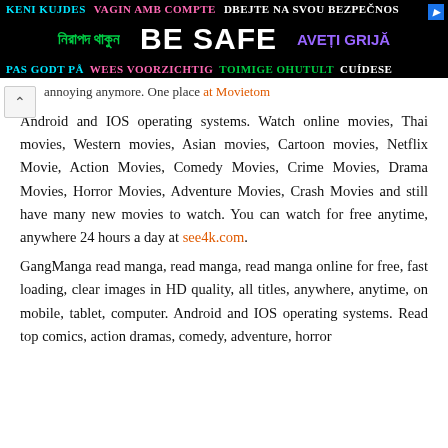[Figure (other): Multilingual 'Be Safe' advertisement banner with text in multiple languages on black background]
annoying anymore. One place at Movietom
Android and IOS operating systems. Watch online movies, Thai movies, Western movies, Asian movies, Cartoon movies, Netflix Movie, Action Movies, Comedy Movies, Crime Movies, Drama Movies, Horror Movies, Adventure Movies, Crash Movies and still have many new movies to watch. You can watch for free anytime, anywhere 24 hours a day at see4k.com.
GangManga read manga, read manga, read manga online for free, fast loading, clear images in HD quality, all titles, anywhere, anytime, on mobile, tablet, computer. Android and IOS operating systems. Read top comics, action dramas, comedy, adventure, horror